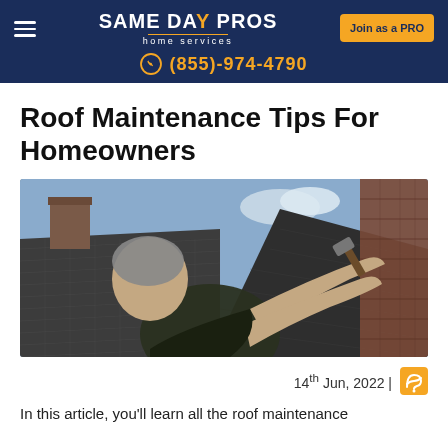SAME DAY PROS home services | (855)-974-4790 | Join as a PRO
Roof Maintenance Tips For Homeowners
[Figure (photo): A man working on a roof, using a hammer to nail shingles. Two rooftops are visible in the background with dark grey metal tiles. The man is middle-aged with grey hair, wearing a dark shirt, reaching up to the edge of shingles.]
14th Jun, 2022 |
In this article, you'll learn all the roof maintenance